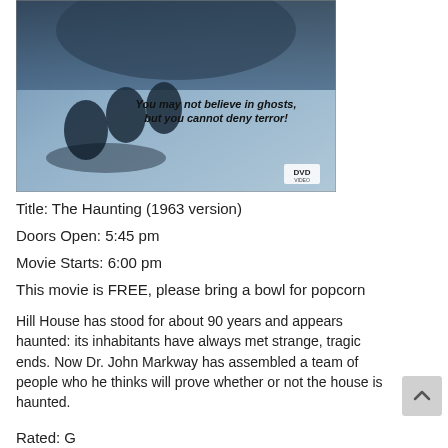[Figure (photo): DVD cover for The Haunting (1963 version) — dark blue-tinted image of figures cowering with tagline 'You may not believe in ghosts, but you cannot deny terror!' and DVD logo]
Title: The Haunting (1963 version)
Doors Open: 5:45 pm
Movie Starts: 6:00 pm
This movie is FREE, please bring a bowl for popcorn
Hill House has stood for about 90 years and appears haunted: its inhabitants have always met strange, tragic ends. Now Dr. John Markway has assembled a team of people who he thinks will prove whether or not the house is haunted.
Rated: G